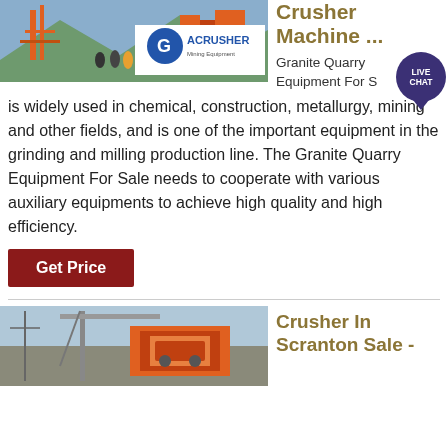[Figure (photo): Mining quarry site with workers and orange equipment; ACRUSHER Mining Equipment logo overlay]
Crusher Machine ...
Granite Quarry Equipment For S
is widely used in chemical, construction, metallurgy, mining and other fields, and is one of the important equipment in the grinding and milling production line. The Granite Quarry Equipment For Sale needs to cooperate with various auxiliary equipments to achieve high quality and high efficiency.
Get Price
[Figure (photo): Large industrial crusher machine at a quarry site]
Crusher In Scranton Sale -